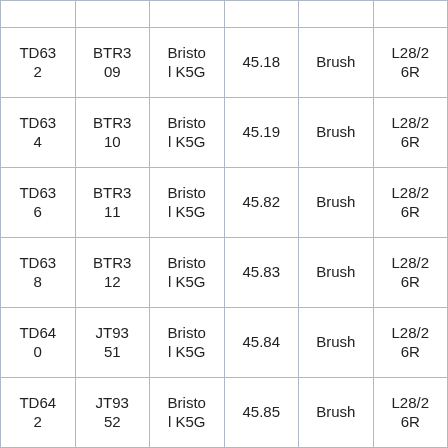|  |  |  |  |  |  |
| TD632 | BTR309 | Bristol K5G | 45.18 | Brush | L28/26R |
| TD634 | BTR310 | Bristol K5G | 45.19 | Brush | L28/26R |
| TD636 | BTR311 | Bristol K5G | 45.82 | Brush | L28/26R |
| TD638 | BTR312 | Bristol K5G | 45.83 | Brush | L28/26R |
| TD640 | JT9351 | Bristol K5G | 45.84 | Brush | L28/26R |
| TD642 | JT9352 | Bristol K5G | 45.85 | Brush | L28/26R |